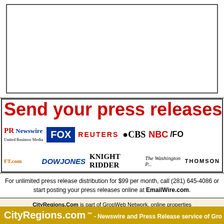[Figure (other): White empty box with border at top of page]
[Figure (other): Banner advertisement: 'Send your press releases to maj' in large red text with media outlet logos including PR Newswire, FOX, Reuters, CBS, NBC, Dow Jones, Knight Ridder, The Washington Post, FT.com, Thomson]
For unlimited press release distribution for $99 per month, call (281) 645-4086 or start posting your press releases online at EmailWire.com.
CityRegions.Com is part of GropWeb Network, online properties
[Figure (logo): GROU logo (GropWeb) with stylized green/blue circle]
AfricaNewswire.Net | AppleNews247.Com | AsiaNewsWire.Net | Aviation-NewsWire | Health NewsWire | Hosting NewsWire | i-Auto NewsWire | i-Business NewsWire | InvestorsNewsDesk.Com | i-TravelNewsWire.Com | LegalLaw247.com | Medical-NewsWire | PharmaNewsWire.Com | Publishing-NewsWire.Com | Shopping-NewsWire.com | Tele...
CityRegions.com ™ - Newswire and Press Release service of Gro...